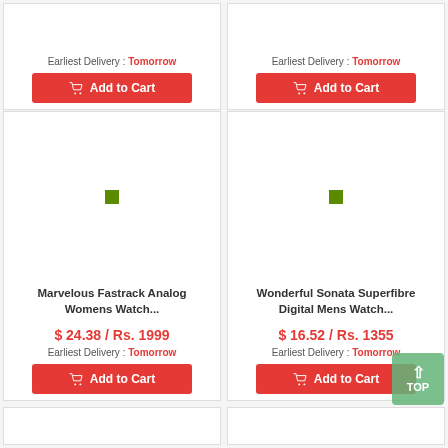Earliest Delivery : Tomorrow
Add to Cart
Earliest Delivery : Tomorrow
Add to Cart
[Figure (photo): Product image placeholder with green dot for Marvelous Fastrack Analog Womens Watch]
Marvelous Fastrack Analog Womens Watch...
$ 24.38 / Rs. 1999
Earliest Delivery : Tomorrow
Add to Cart
[Figure (photo): Product image placeholder with green dot for Wonderful Sonata Superfibre Digital Mens Watch]
Wonderful Sonata Superfibre Digital Mens Watch...
$ 16.52 / Rs. 1355
Earliest Delivery : Tomorrow
Add to Cart